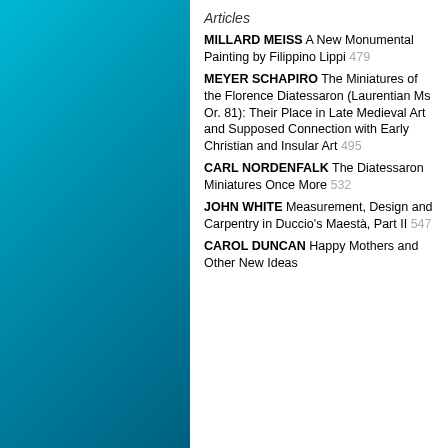Articles
MILLARD MEISS A New Monumental Painting by Filippino Lippi 479
MEYER SCHAPIRO The Miniatures of the Florence Diatessaron (Laurentian Ms Or. 81): Their Place in Late Medieval Art and Supposed Connection with Early Christian and Insular Art 495
CARL NORDENFALK The Diatessaron Miniatures Once More 532
JOHN WHITE Measurement, Design and Carpentry in Duccio's Maestà, Part II 547
CAROL DUNCAN Happy Mothers and Other New Ideas